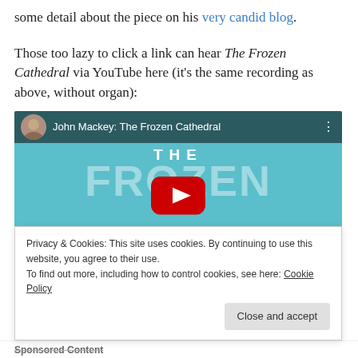some detail about the piece on his very candid blog.
Those too lazy to click a link can hear The Frozen Cathedral via YouTube here (it's the same recording as above, without organ):
[Figure (screenshot): YouTube embed thumbnail for 'John Mackey: The Frozen Cathedral' showing teal background with large white text 'THE FROZEN CATHEDRAL' and a red YouTube play button in the center. Top bar shows avatar and video title.]
Privacy & Cookies: This site uses cookies. By continuing to use this website, you agree to their use.
To find out more, including how to control cookies, see here: Cookie Policy
Close and accept
Sponsored Content